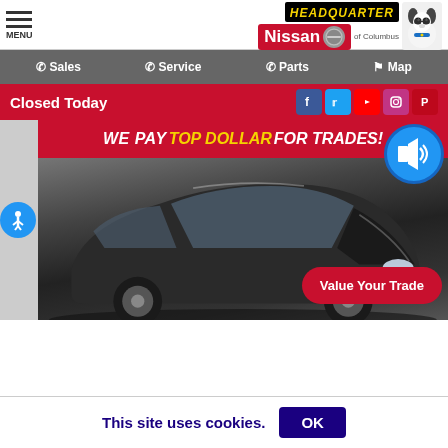MENU | HEADQUARTER Nissan of Columbus
Sales | Service | Parts | Map
Closed Today
[Figure (screenshot): Car dealership website screenshot showing a black Nissan sedan with 'WE PAY TOP DOLLAR FOR TRADES!' banner overlay and a 'Value Your Trade' button]
This site uses cookies. OK